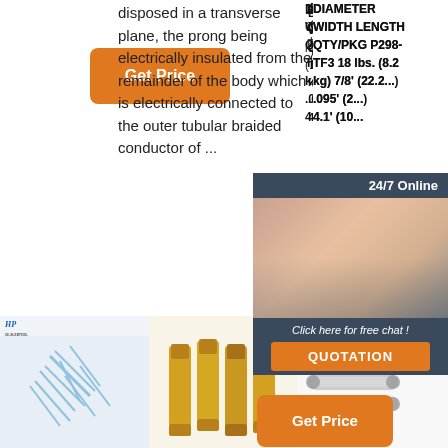[Figure (other): Orange 'Get Price' button, top left]
disposed in a transverse plane, the prong being electrically insulated from the remainder of the body which is electrically connected to the outer tubular braided conductor of ...
DIAMETER WIDTH LENGTH QTY/PKG P298-TF3 18 lbs. (8.2 kg) 7/8' (22.2...) .095' (2...) 4.1' (10...
[Figure (other): 24/7 Online chat panel with customer service representative photo, 'Click here for free chat!' text, and QUOTATION button]
[Figure (other): Orange 'Get Price' button, middle]
[Figure (other): Orange 'Get' button]
[Figure (photo): Product image: blue wire/cable screws scattered]
[Figure (photo): Product image: yellow insulated ring terminals]
[Figure (photo): Product image: transparent crimp connectors with TOP badge]